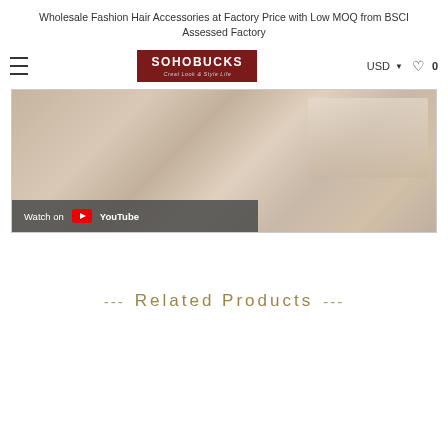Wholesale Fashion Hair Accessories at Factory Price with Low MOQ from BSCI Assessed Factory
[Figure (logo): SOHOBUCKS logo with text 'Creat Look & Style Life' on dark red background]
[Figure (screenshot): Video thumbnail showing a person with hair accessories, with a 'Watch on YouTube' overlay bar at the bottom]
--- Related Products ---